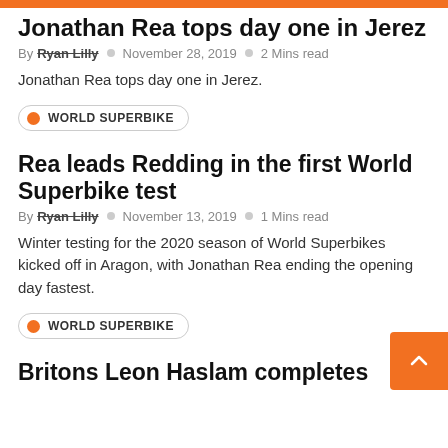Jonathan Rea tops day one in Jerez
By Ryan Lilly  ○  November 28, 2019  ○  2 Mins read
Jonathan Rea tops day one in Jerez.
WORLD SUPERBIKE
Rea leads Redding in the first World Superbike test
By Ryan Lilly  ○  November 13, 2019  ○  1 Mins read
Winter testing for the 2020 season of World Superbikes kicked off in Aragon, with Jonathan Rea ending the opening day fastest.
WORLD SUPERBIKE
Britons Leon Haslam completes